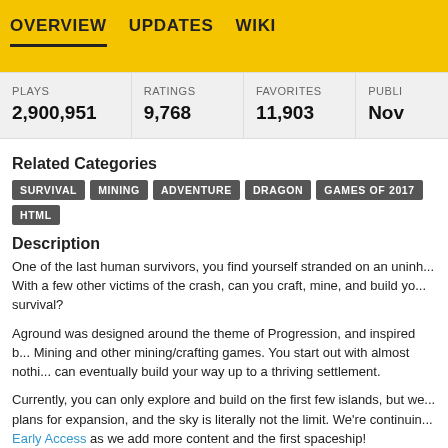OVERVIEW   UPDATES   WIKI
| PLAYS | RATINGS | FAVORITES | PUBLI... |
| --- | --- | --- | --- |
| 2,900,951 | 9,768 | 11,903 | Nov... |
Related Categories
SURVIVAL
MINING
ADVENTURE
DRAGON
GAMES OF 2017
HTML
Description
One of the last human survivors, you find yourself stranded on an uninh... With a few other victims of the crash, can you craft, mine, and build yo... survival?
Aground was designed around the theme of Progression, and inspired b... Mining and other mining/crafting games. You start out with almost nothi... can eventually build your way up to a thriving settlement.
Currently, you can only explore and build on the first few islands, but we... plans for expansion, and the sky is literally not the limit. We're continuin... Early Access as we add more content and the first spaceship!
We're planning to continue developing Aground based on feedback and... from players, so definitely send me a message or post in our subreddit...